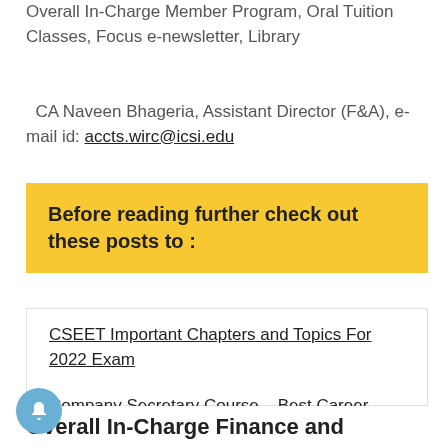Overall In-Charge Member Program, Oral Tuition Classes, Focus e-newsletter, Library
CA Naveen Bhageria, Assistant Director (F&A), e-mail id: accts.wirc@icsi.edu
Before reading further check out these posts to :
CSEET Important Chapters and Topics For 2022 Exam
Company Secretary Course – Best Career Option for Commerce Students
Overall In-Charge Finance and